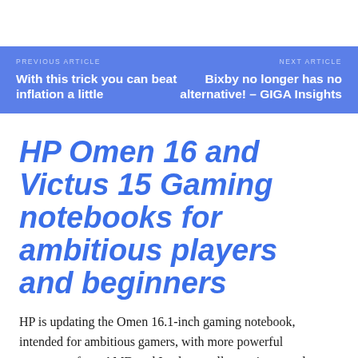PREVIOUS ARTICLE: With this trick you can beat inflation a little | NEXT ARTICLE: Bixby no longer has no alternative! – GIGA Insights
HP Omen 16 and Victus 15 Gaming notebooks for ambitious players and beginners
HP is updating the Omen 16.1-inch gaming notebook, intended for ambitious gamers, with more powerful processors from AMD and Intel, as well as an improved